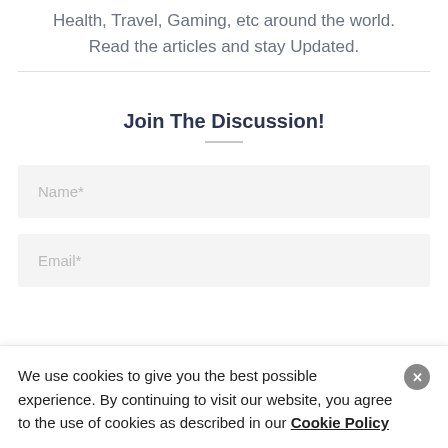Health, Travel, Gaming, etc around the world. Read the articles and stay Updated.
Join The Discussion!
[Figure (screenshot): Name* text input field with light gray background]
[Figure (screenshot): Email* text input field with light gray background]
We use cookies to give you the best possible experience. By continuing to visit our website, you agree to the use of cookies as described in our Cookie Policy